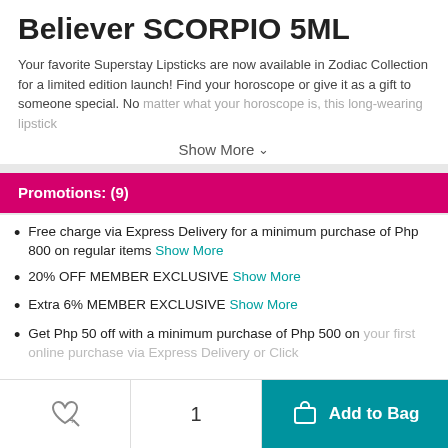Believer SCORPIO 5ML
Your favorite Superstay Lipsticks are now available in Zodiac Collection for a limited edition launch! Find your horoscope or give it as a gift to someone special. No matter what your horoscope is, this long-wearing lipstick
Show More
Promotions: (9)
Free charge via Express Delivery for a minimum purchase of Php 800 on regular items Show More
20% OFF MEMBER EXCLUSIVE Show More
Extra 6% MEMBER EXCLUSIVE Show More
Get Php 50 off with a minimum purchase of Php 500 on your first online purchase via Express Delivery or Click
Show More
Add to Bag  1